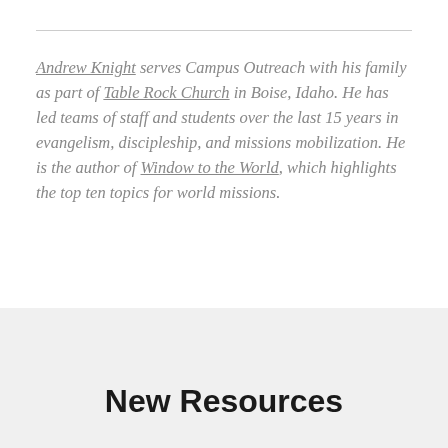Andrew Knight serves Campus Outreach with his family as part of Table Rock Church in Boise, Idaho. He has led teams of staff and students over the last 15 years in evangelism, discipleship, and missions mobilization. He is the author of Window to the World, which highlights the top ten topics for world missions.
New Resources